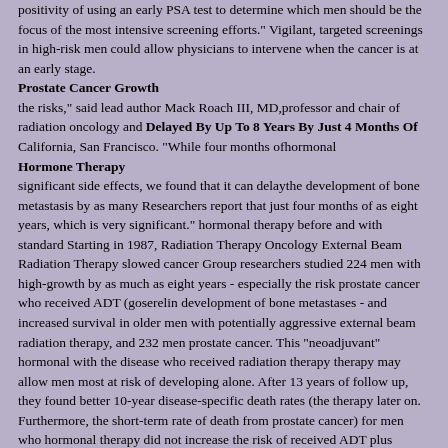positivity of using an early PSA test to determine which men should be the focus of the most intensive screening efforts." Vigilant, targeted screenings in high-risk men could allow physicians to intervene when the cancer is at an early stage.
Prostate Cancer Growth
the risks," said lead author Mack Roach III, MD,professor and chair of radiation oncology and Delayed By Up To 8 Years By Just 4 Months Of
California, San Francisco. "While four months ofhormonal
Hormone Therapy
significant side effects, we found that it can delaythe development of bone metastasis by as many Researchers report that just four months of as eight years, which is very significant." hormonal therapy before and with standard Starting in 1987, Radiation Therapy Oncology External Beam Radiation Therapy slowed cancer Group researchers studied 224 men with high-growth by as much as eight years - especially the risk prostate cancer who received ADT (goserelin development of bone metastases - and increased survival in older men with potentially aggressive external beam radiation therapy, and 232 men prostate cancer. This "neoadjuvant" hormonal with the disease who received radiation therapy therapy may allow men most at risk of developing alone. After 13 years of follow up, they found better 10-year disease-specific death rates (the therapy later on. Furthermore, the short-term rate of death from prostate cancer) for men who hormonal therapy did not increase the risk of received ADT plus radiation (23 percent versus cardiovascular disease - a potential side effect of 36 percent of the radiation-only group), disease long-term hormonal therapy. The study was metastasis rates (35 percent versus 47 percent), published online